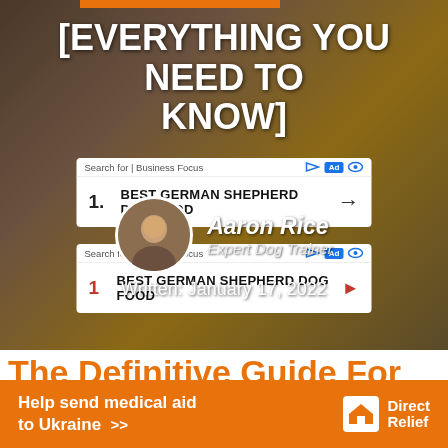[EVERYTHING YOU NEED TO KNOW]
[Figure (screenshot): Advertisement box 1: Search for | Business Focus header with Ad badge, listing '1. BEST GERMAN SHEPHERD DOG FOOD' with arrow]
[Figure (screenshot): Advertisement box 2: Search for | Business Focus header with Ad badge, listing '1 BEST GERMAN SHEPHERD DOG FOOD' with red arrow]
Aaron Rice
Expert Dog Trainer
Written: January 17, 2022
The Definitive Guide For
Help send medical aid to Ukraine >>
Direct Relief